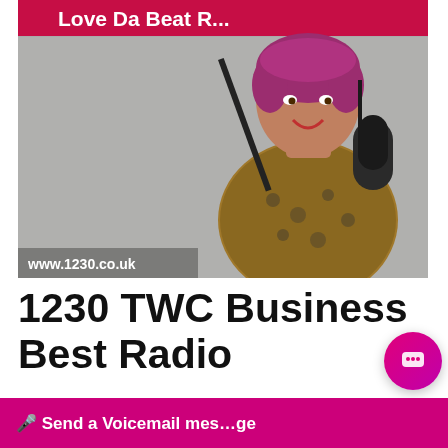[Figure (photo): Woman with short pink/purple hair sitting in front of a microphone at a radio station. A red banner reads 'Love Da Beat R...' and the URL www.1230.co.uk is visible.]
1230 TWC Business Best Radio
This website stores cookies on your computer. These cookies are used to improve your website experience and provide more personalized services to you, both on this website and through other media. To find out more about the cookies we use, see our Privacy P
We won't track your site. But in order to c we'll have to use jus not asked to make this choice again.
Hi there, how can I help?
Accept
Decline
🎤 Send a Voicemail mes...age